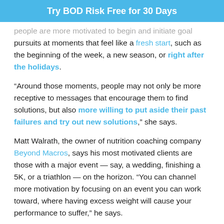Try BOD Risk Free for 30 Days
people are more motivated to begin and initiate goal pursuits at moments that feel like a fresh start, such as the beginning of the week, a new season, or right after the holidays.
“Around those moments, people may not only be more receptive to messages that encourage them to find solutions, but also more willing to put aside their past failures and try out new solutions,” she says.
Matt Walrath, the owner of nutrition coaching company Beyond Macros, says his most motivated clients are those with a major event — say, a wedding, finishing a 5K, or a triathlon — on the horizon. “You can channel more motivation by focusing on an event you can work toward, where having excess weight will cause your performance to suffer,” he says.